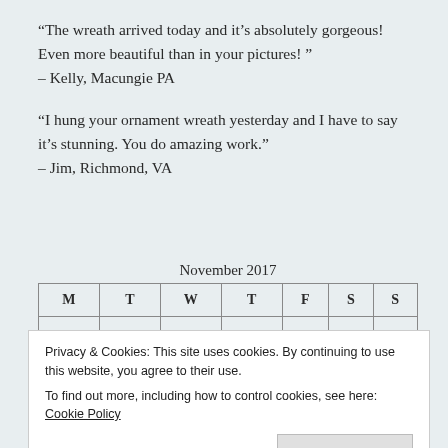“The wreath arrived today and it’s absolutely gorgeous! Even more beautiful than in your pictures! ” – Kelly, Macungie PA
“I hung your ornament wreath yesterday and I have to say it’s stunning. You do amazing work.” – Jim, Richmond, VA
November 2017
| M | T | W | T | F | S | S |
| --- | --- | --- | --- | --- | --- | --- |
|  |  | 1 | 2 | 3 | 4 | 5 |
|  |  |  |  |  |  |  |
| 27 | 28 | 29 | 30 |  |  |  |
Privacy & Cookies: This site uses cookies. By continuing to use this website, you agree to their use.
To find out more, including how to control cookies, see here: Cookie Policy
Close and accept